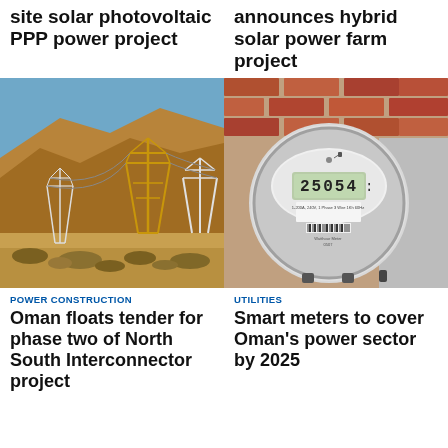site solar photovoltaic PPP power project
announces hybrid solar power farm project
[Figure (photo): High-voltage electricity transmission towers/pylons against a dry brown hillside with a clear blue sky in the background.]
[Figure (photo): Close-up of an electric smart meter mounted on a brick wall, displaying the reading 25054.]
POWER CONSTRUCTION
Oman floats tender for phase two of North South Interconnector project
UTILITIES
Smart meters to cover Oman's power sector by 2025